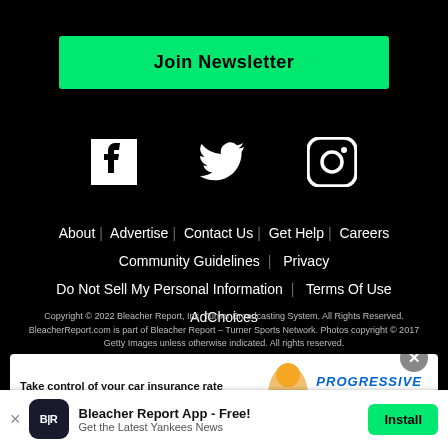Join Newsletter
[Figure (illustration): Social media icons: Facebook, Twitter, Instagram in white on black background]
About  Advertise  Contact Us  Get Help  Careers
Community Guidelines  Privacy
Do Not Sell My Personal Information  Terms Of Use
AdChoices
Copyright © 2022 Bleacher Report, Inc. Turner Broadcasting System. All Rights Reserved. BleacherReport.com is part of Bleacher Report – Turner Sports Network. Photos copyright © 2017 Getty Images unless otherwise indicated. All rights reserved. Use of this website (including any and all parts and components) constitutes your acceptance of these Terms of Use and Updated Privacy Policy.
[Figure (illustration): Progressive insurance advertisement: Take control of your car insurance rate. Snapshot puts you in the driver's seat. Get a quote button.]
Bleacher Report App - Free! Get the Latest Yankees News Install